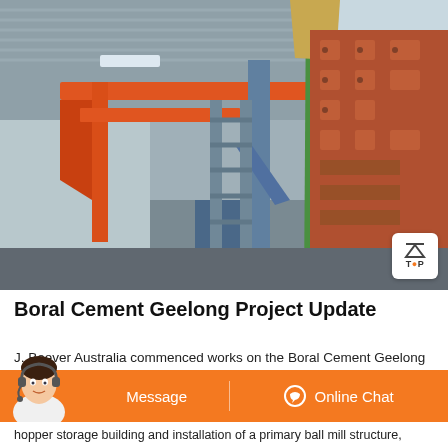[Figure (photo): Industrial interior photo showing heavy equipment being installed — orange metal beams, diagonal blue scaffolding, a green hoist cable holding a large orange/rust-colored machinery piece, all inside a corrugated metal warehouse/shed.]
Boral Cement Geelong Project Update
J. Beever Australia commenced works on the Boral Cement Geelong hopper storage building and installation of a primary ball mill structure,